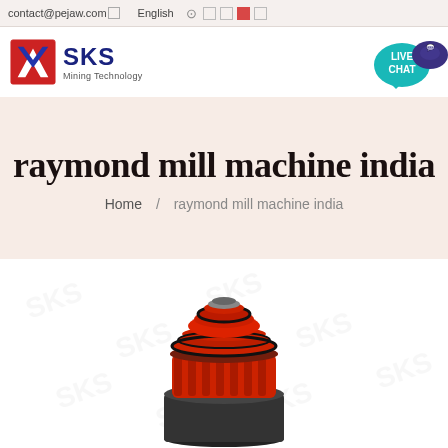contact@pejaw.com  English
[Figure (logo): SKS Mining Technology logo with red and blue geometric icon]
[Figure (other): Live Chat bubble icon in teal/cyan color with speech bubble]
raymond mill machine india
Home / raymond mill machine india
[Figure (photo): Red and black Raymond mill machine top section showing the grinding ring and classifier]